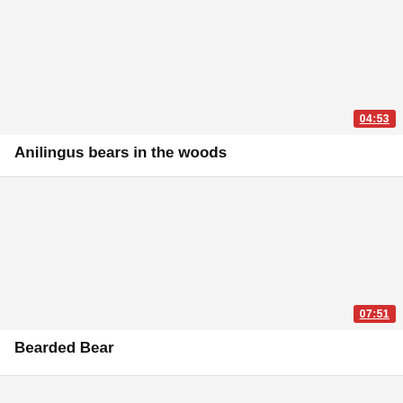[Figure (screenshot): Video thumbnail placeholder (light gray/white background) with red duration badge showing 04:53]
Anilingus bears in the woods
[Figure (screenshot): Video thumbnail placeholder (light gray/white background) with red duration badge showing 07:51]
Bearded Bear